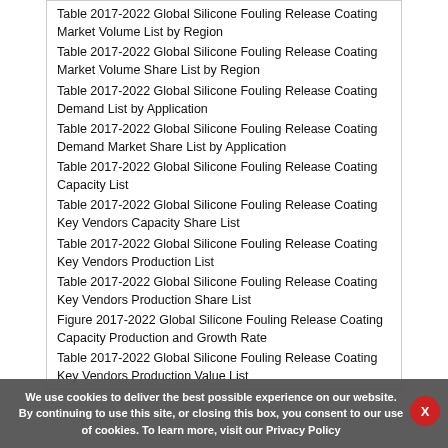Table 2017-2022 Global Silicone Fouling Release Coating Market Volume List by Region
Table 2017-2022 Global Silicone Fouling Release Coating Market Volume Share List by Region
Table 2017-2022 Global Silicone Fouling Release Coating Demand List by Application
Table 2017-2022 Global Silicone Fouling Release Coating Demand Market Share List by Application
Table 2017-2022 Global Silicone Fouling Release Coating Capacity List
Table 2017-2022 Global Silicone Fouling Release Coating Key Vendors Capacity Share List
Table 2017-2022 Global Silicone Fouling Release Coating Key Vendors Production List
Table 2017-2022 Global Silicone Fouling Release Coating Key Vendors Production Share List
Figure 2017-2022 Global Silicone Fouling Release Coating Capacity Production and Growth Rate
Table 2017-2022 Global Silicone Fouling Release Coating Key Vendors Production Value List
We use cookies to deliver the best possible experience on our website. By continuing to use this site, or closing this box, you consent to our use of cookies. To learn more, visit our Privacy Policy